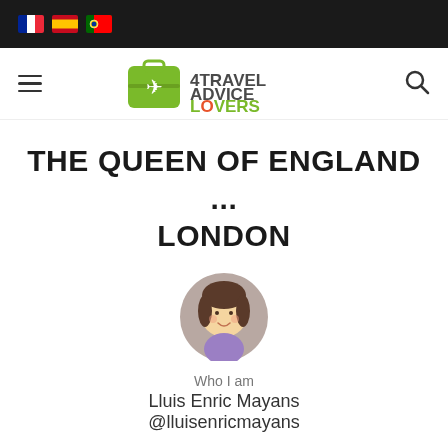Flag icons: French, Spanish, Portuguese
[Figure (logo): 4Travel Advice Lovers logo with green suitcase icon and airplane]
THE QUEEN OF ENGLAND ... LONDON
[Figure (illustration): Circular avatar illustration of a woman with dark hair and purple top]
Who I am
Lluis Enric Mayans
@lluisenricmayans
SOURCES CONSULTED:
wikipedia.org, lonelyplanet.com